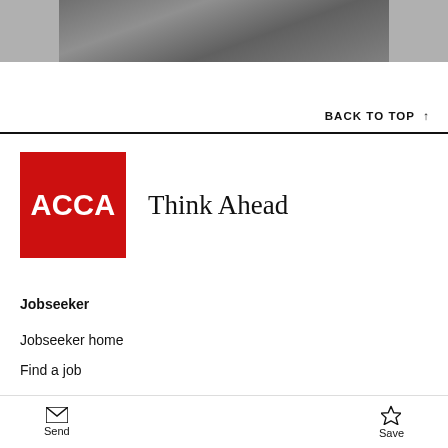[Figure (photo): Partial photo strip at top of page showing a person, cropped]
BACK TO TOP ↑
[Figure (logo): ACCA red square logo with white ACCA text and Think Ahead tagline]
Jobseeker
Jobseeker home
Find a job
Send   Save